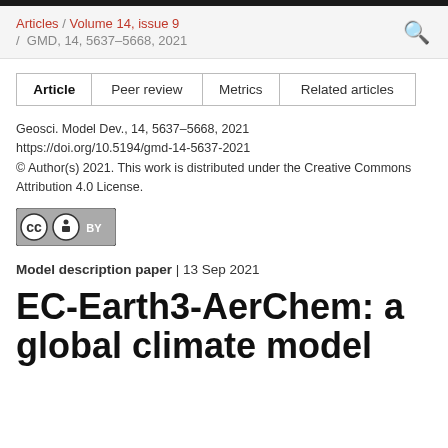Articles / Volume 14, issue 9 / GMD, 14, 5637–5668, 2021
| Article | Peer review | Metrics | Related articles |
| --- | --- | --- | --- |
Geosci. Model Dev., 14, 5637–5668, 2021
https://doi.org/10.5194/gmd-14-5637-2021
© Author(s) 2021. This work is distributed under the Creative Commons Attribution 4.0 License.
[Figure (logo): Creative Commons BY license badge]
Model description paper | 13 Sep 2021
EC-Earth3-AerChem: a global climate model